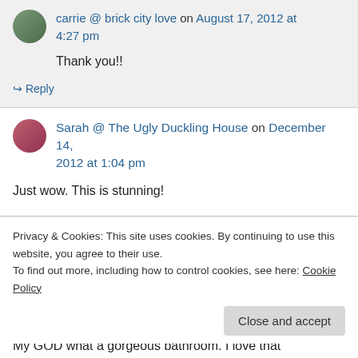carrie @ brick city love on August 17, 2012 at 4:27 pm
Thank you!!
↳ Reply
Sarah @ The Ugly Duckling House on December 14, 2012 at 1:04 pm
Just wow. This is stunning!
Privacy & Cookies: This site uses cookies. By continuing to use this website, you agree to their use.
To find out more, including how to control cookies, see here: Cookie Policy
Close and accept
My GOD what a gorgeous bathroom. I love that